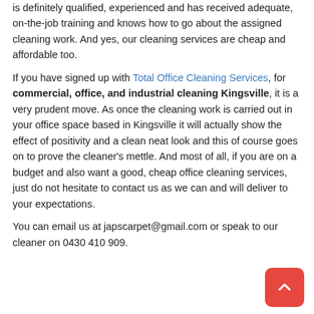is definitely qualified, experienced and has received adequate, on-the-job training and knows how to go about the assigned cleaning work. And yes, our cleaning services are cheap and affordable too. If you have signed up with Total Office Cleaning Services, for commercial, office, and industrial cleaning Kingsville, it is a very prudent move. As once the cleaning work is carried out in your office space based in Kingsville it will actually show the effect of positivity and a clean neat look and this of course goes on to prove the cleaner's mettle. And most of all, if you are on a budget and also want a good, cheap office cleaning services, just do not hesitate to contact us as we can and will deliver to your expectations. You can email us at japscarpet@gmail.com or speak to our cleaner on 0430 410 909.